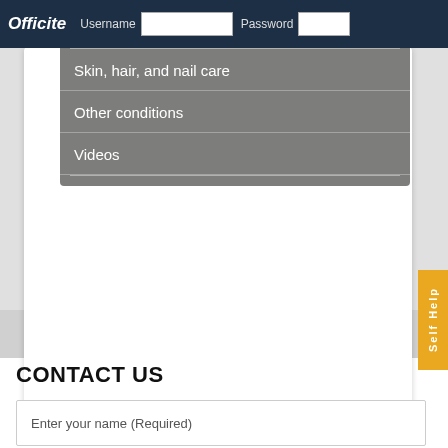Officite — Username [input] Password [input]
Skin, hair, and nail care
Other conditions
Videos
CONTACT US
Enter your name (Required)
Enter email (Required)
(XXX)XXX-XXXX (Required)